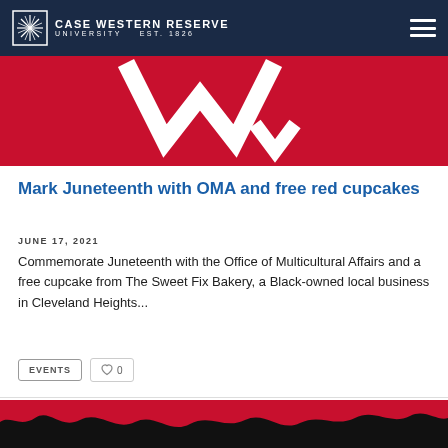Case Western Reserve University EST. 1826
[Figure (photo): Red background banner with white W letter mark for Case Western Reserve University]
Mark Juneteenth with OMA and free red cupcakes
JUNE 17, 2021
Commemorate Juneteenth with the Office of Multicultural Affairs and a free cupcake from The Sweet Fix Bakery, a Black-owned local business in Cleveland Heights...
EVENTS   ♡ 0
[Figure (photo): Red and black textured background image, bottom of page]